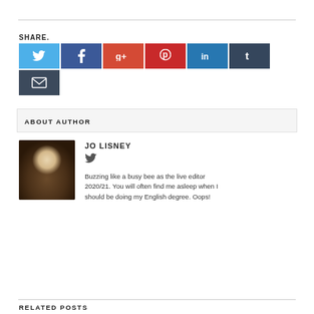SHARE.
[Figure (infographic): Social sharing buttons: Twitter (blue), Facebook (dark blue), Google+ (orange-red), Pinterest (red), LinkedIn (blue), Tumblr (dark slate), Email (dark slate)]
ABOUT AUTHOR
[Figure (photo): Portrait photo of Jo Lisney, a woman with blonde hair]
JO LISNEY
Buzzing like a busy bee as the live editor 2020/21. You will often find me asleep when I should be doing my English degree. Oops!
RELATED POSTS